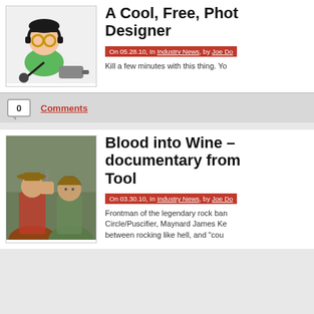[Figure (illustration): Cartoon avatar of a developer with headphones and glasses, alongside a microphone and headphone jack graphic, on white background]
A Cool, Free, Phot... Designer
On 05.28.10, In Industry News, by Joe Do...
Kill a few minutes with this thing. Yo...
0 Comments
[Figure (photo): Two men, one in a cowboy hat holding a corkscrew, second with curly hair, in a winery setting]
Blood into Wine – documentary from Tool
On 03.30.10, In Industry News, by Joe Do...
Frontman of the legendary rock ban... Circle/Puscifier, Maynard James Ke... between rocking like hell, and "cou...